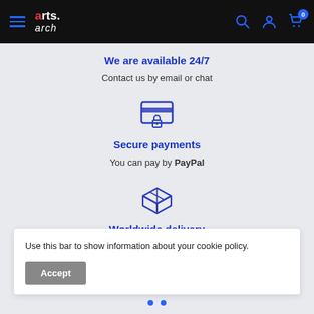arts.arch navigation bar with hamburger menu, search, account, and cart icons
We are available 24/7
Contact us by email or chat
[Figure (illustration): Blue icon of a credit card with a lock, representing secure payments]
Secure payments
You can pay by PayPal
[Figure (illustration): Blue icon of a shipping box, representing worldwide delivery]
Worldwide delivery
Use this bar to show information about your cookie policy.
Accept